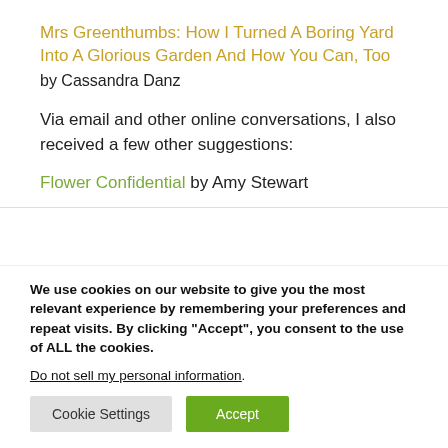Mrs Greenthumbs: How I Turned A Boring Yard Into A Glorious Garden And How You Can, Too
by Cassandra Danz
Via email and other online conversations, I also received a few other suggestions:
Flower Confidential by Amy Stewart
We use cookies on our website to give you the most relevant experience by remembering your preferences and repeat visits. By clicking "Accept", you consent to the use of ALL the cookies.
Do not sell my personal information.